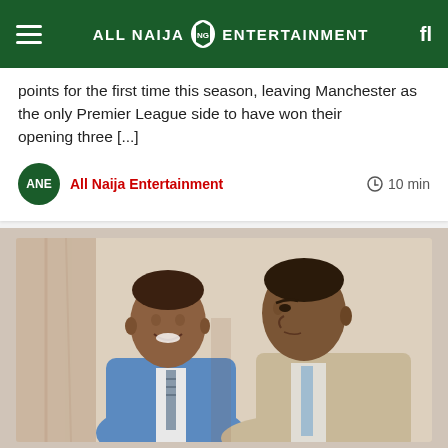ALL NAIJA ENTERTAINMENT
points for the first time this season, leaving Manchester as the only Premier League side to have won their opening three [...]
All Naija Entertainment
10 min
[Figure (photo): Two men in formal attire, one in a blue suit smiling, one in a beige/tan suit, vintage colorized photo]